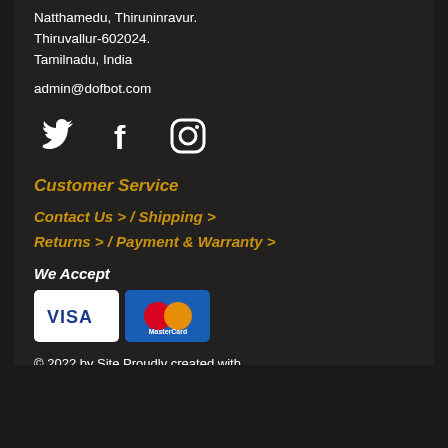Natthamedu, Thiruninravur.
Thiruvallur-602024.
Tamilnadu, India
admin@dofbot.com
[Figure (illustration): Social media icons: Twitter bird icon, Facebook 'f' icon, Instagram camera icon, all white on dark background]
Customer Service
Contact Us >  /  Shipping >
Returns >  /  Payment & Warranty >
We Accept
[Figure (illustration): Payment card logos: VISA card (white background, blue VISA text) and MasterCard (blue background, overlapping red and orange circles with MasterCard text)]
© 2022 by Site Proudly created with Dofbot.com